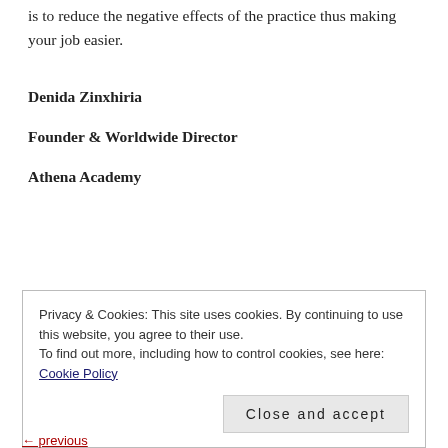is to reduce the negative effects of the practice thus making your job easier.
Denida Zinxhiria
Founder & Worldwide Director
Athena Academy
Privacy & Cookies: This site uses cookies. By continuing to use this website, you agree to their use.
To find out more, including how to control cookies, see here: Cookie Policy
Close and accept